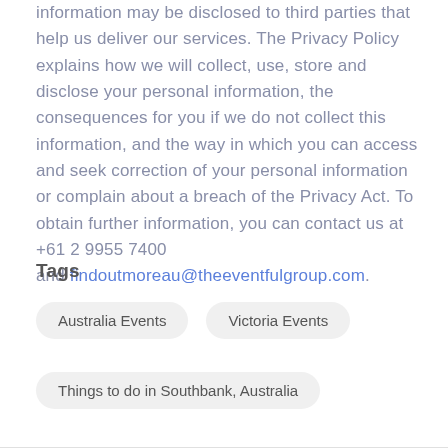information may be disclosed to third parties that help us deliver our services. The Privacy Policy explains how we will collect, use, store and disclose your personal information, the consequences for you if we do not collect this information, and the way in which you can access and seek correction of your personal information or complain about a breach of the Privacy Act. To obtain further information, you can contact us at +61 2 9955 7400 and findoutmoreau@theeventfulgroup.com.
Tags
Australia Events
Victoria Events
Things to do in Southbank, Australia